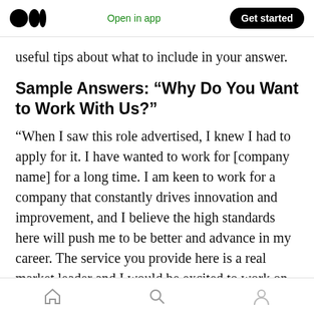Medium logo | Open in app | Get started
useful tips about what to include in your answer.
Sample Answers: “Why Do You Want to Work With Us?”
“When I saw this role advertised, I knew I had to apply for it. I have wanted to work for [company name] for a long time. I am keen to work for a company that constantly drives innovation and improvement, and I believe the high standards here will push me to be better and advance in my career. The service you provide here is a real market leader and I would be excited to work on
Home | Search | Profile